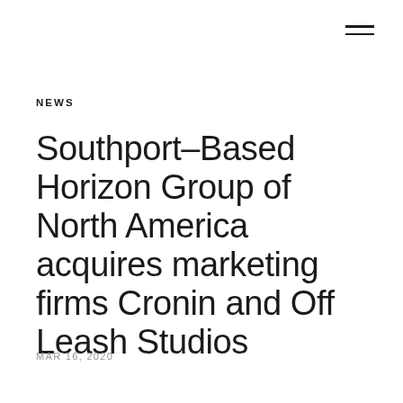NEWS
Southport–Based Horizon Group of North America acquires marketing firms Cronin and Off Leash Studios
MAR 16, 2020